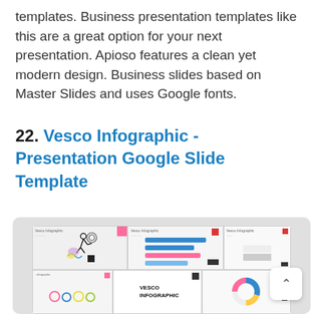templates. Business presentation templates like this are a great option for your next presentation. Apioso features a clean yet modern design. Business slides based on Master Slides and uses Google fonts.
22. Vesco Infographic - Presentation Google Slide Template
[Figure (screenshot): Screenshot of multiple Vesco Infographic Google Slide Template slides showing various infographic layouts with colorful icons, charts, runner figure, donut charts, and VESCO INFOGRAPHIC branding.]